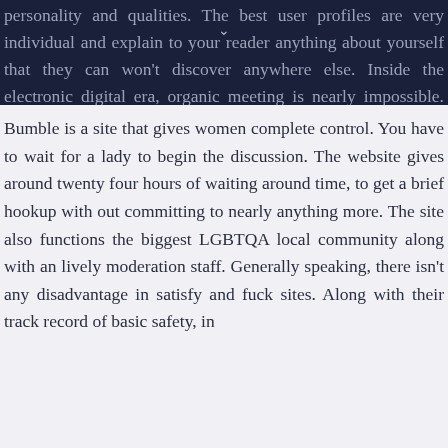personality and qualities. The best user profiles are very individual and explain to your reader anything about yourself that they can won't discover anywhere else. Inside the electronic digital era, organic meeting is nearly impossible. You need to be prepared to pay for the service you use, but there are several options for paying members.
Bumble is a site that gives women complete control. You have to wait for a lady to begin the discussion. The website gives around twenty four hours of waiting around time, to get a brief hookup with out committing to nearly anything more. The site also functions the biggest LGBTQA local community along with an lively moderation staff. Generally speaking, there isn't any disadvantage in satisfy and fuck sites. Along with their track record of basic safety, in